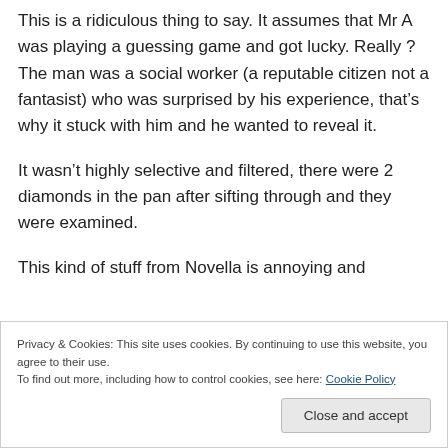This is a ridiculous thing to say. It assumes that Mr A was playing a guessing game and got lucky. Really ? The man was a social worker (a reputable citizen not a fantasist) who was surprised by his experience, that’s why it stuck with him and he wanted to reveal it.
It wasn’t highly selective and filtered, there were 2 diamonds in the pan after sifting through and they were examined.
This kind of stuff from Novella is annoying and
Privacy & Cookies: This site uses cookies. By continuing to use this website, you agree to their use.
To find out more, including how to control cookies, see here: Cookie Policy